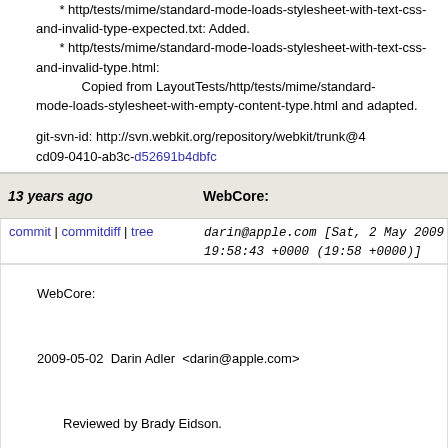* http/tests/mime/standard-mode-loads-stylesheet-with-text-css-and-invalid-type-expected.txt: Added.
        * http/tests/mime/standard-mode-loads-stylesheet-with-text-css-and-invalid-type.html:
            Copied from LayoutTests/http/tests/mime/standard-mode-loads-stylesheet-with-empty-content-type.html and adapted.

git-svn-id: http://svn.webkit.org/repository/webkit/trunk@4 cd09-0410-ab3c-d52691b4dbfc
13 years ago    WebCore:
commit | commitdiff | tree    darin@apple.com [Sat, 2 May 2009 19:58:43 +0000 (19:58 +0000)]
WebCore:

2009-05-02  Darin Adler  <darin@apple.com>

        Reviewed by Brady Eidson.

        Bug 25491: WebFrame leak when a subframe
        https://bugs.webkit.org/show_bug.cgi?id=25491
        rdar://problem/6833859